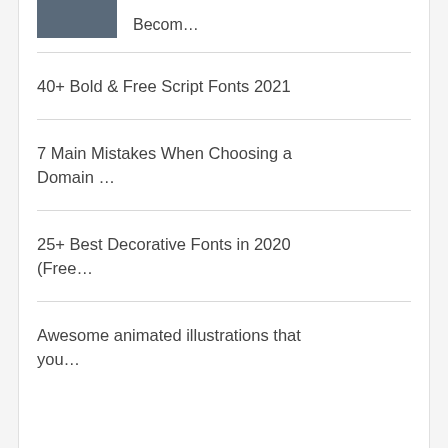[Figure (photo): Small thumbnail photo, partially visible at top]
Becom…
40+ Bold & Free Script Fonts 2021
7 Main Mistakes When Choosing a Domain …
25+ Best Decorative Fonts in 2020 (Free…
Awesome animated illustrations that you…